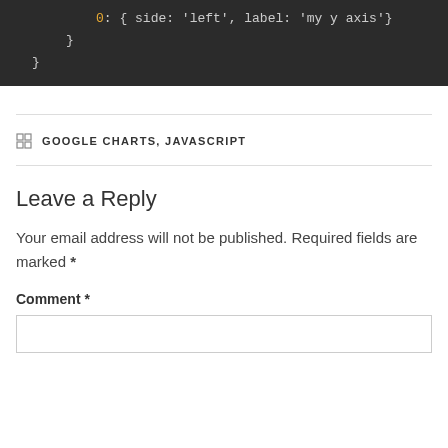[Figure (screenshot): Dark-themed code block showing JavaScript object syntax: '0: { side: "left", label: "my y axis" }' followed by closing braces on subsequent lines.]
GOOGLE CHARTS, JAVASCRIPT
Leave a Reply
Your email address will not be published. Required fields are marked *
Comment *